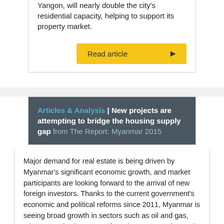Yangon, will nearly double the city's residential capacity, helping to support its property market.
Read article
Articles & Analysis | New projects are attempting to bridge the housing supply gap from The Report: Myanmar 2015
Major demand for real estate is being driven by Myanmar's significant economic growth, and market participants are looking forward to the arrival of new foreign investors. Thanks to the current government's economic and political reforms since 2011, Myanmar is seeing broad growth in sectors such as oil and gas, telecommunications, manufacturing, construction and tourism...
Read article